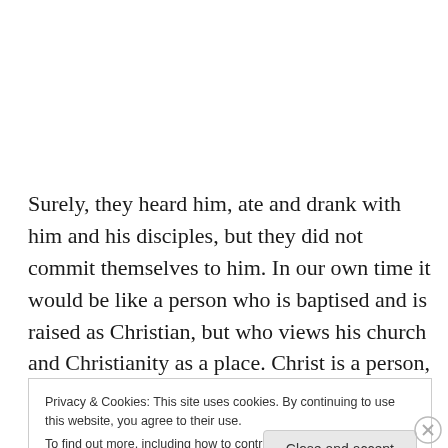Surely, they heard him, ate and drank with him and his disciples, but they did not commit themselves to him. In our own time it would be like a person who is baptised and is raised as Christian, but who views his church and Christianity as a place. Christ is a person, as is his church.
Privacy & Cookies: This site uses cookies. By continuing to use this website, you agree to their use.
To find out more, including how to control cookies, see here: Cookie Policy